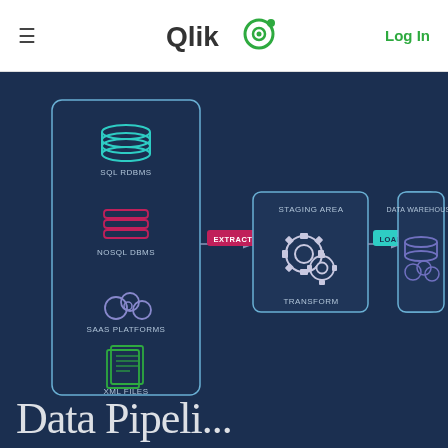Qlik [logo] | Log In
[Figure (flowchart): ETL data pipeline diagram showing: left box with SQL RDBMS, NoSQL DBMS, SaaS Platforms, XML Files sources; arrow labeled EXTRACT pointing to Staging Area / Transform box with gear icons; arrow labeled LOAD pointing to Data Warehouse box with database/cloud icon. Dark navy background.]
Data Pipeline...